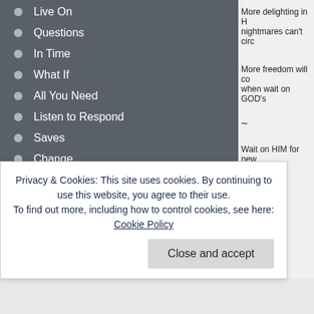Live On
Questions
In Time
What If
All You Need
Listen to Respond
Saves
Change
Lost Regained
Steps Back Steps Forward
Just Beyond
Ice Melts
Take a Beating
Light Posts
Times
More delighting in H... nightmares can't circ...
More freedom will co... when wait on GOD's...
~
Wait on HIM for new...
Privacy & Cookies: This site uses cookies. By continuing to use this website, you agree to their use. To find out more, including how to control cookies, see here: Cookie Policy